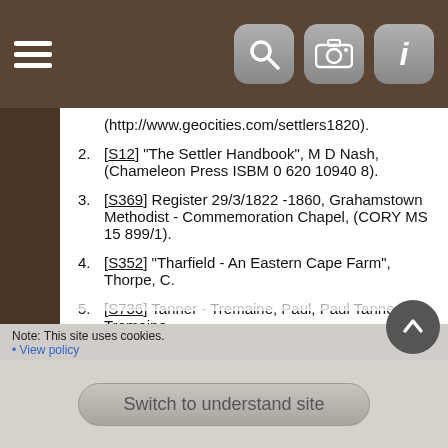Navigation bar with hamburger menu and icons
(http://www.geocities.com/settlers1820).
[S12] "The Settler Handbook", M D Nash, (Chameleon Press ISBM 0 620 10940 8).
[S369] Register 29/3/1822 -1860, Grahamstown Methodist - Commemoration Chapel, (CORY MS 15 899/1).
[S352] "Tharfield - An Eastern Cape Farm", Thorpe, C.
[S736] Tanner - Tremaine, Paul, Paul Tanner - Tremaine.
[S503] "1820 Settler Women", Shuttleworth, Stanley G.
[S18] "Some Frontier Families", Ivan Mitford-Barberton & Violet White, (1968, Human & Rousseau Publishers, Cape Town, South Africa).
Note: This site uses cookies.
• View policy
Switch to understand site